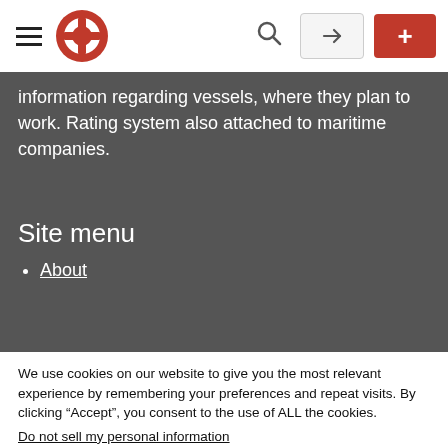Navigation bar with hamburger menu, life preserver logo, search, login, and + buttons
information regarding vessels, where they plan to work. Rating system also attached to maritime companies.
Site menu
About
We use cookies on our website to give you the most relevant experience by remembering your preferences and repeat visits. By clicking “Accept”, you consent to the use of ALL the cookies.
Do not sell my personal information.
Cookie settings   ACCEPT